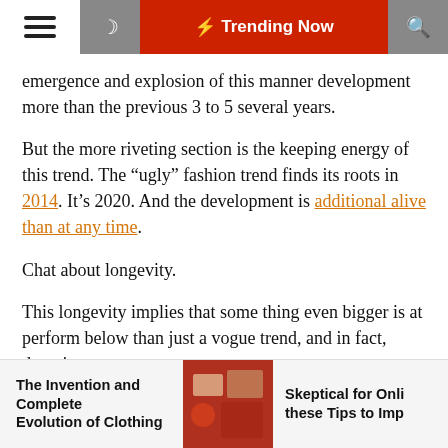☰  ☽  ⚡ Trending Now  🔍
emergence and explosion of this manner development more than the previous 3 to 5 several years.
But the more riveting section is the keeping energy of this trend. The "ugly" fashion trend finds its roots in 2014. It's 2020. And the development is additional alive than at any time.
Chat about longevity.
This longevity implies that some thing even bigger is at perform below than just a vogue trend, and in fact, there is.
At the root of the "ugly" fashion wave is a secular, life style pivot in the direction of consumers caring much more about performance than form.
The Invention and Complete Evolution of Clothing    [image]    Skeptical for Onli these Tips to Imp